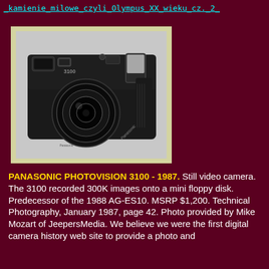_kamienie_milowe_czyli_Olympus_XX_wieku_cz._2_
[Figure (photo): Black Panasonic Photovision 3100 still video camera from 1987, shown at an angle on a light speckled background, inside a light yellow/cream border frame.]
PANASONIC PHOTOVISION 3100 - 1987.  Still video camera. The 3100 recorded 300K images onto a mini floppy disk. Predecessor of the 1988 AG-ES10.  MSRP $1,200.  Technical Photography, January 1987, page 42. Photo provided by Mike Mozart of JeepersMedia.  We believe we were the first digital camera history web site to provide a photo and